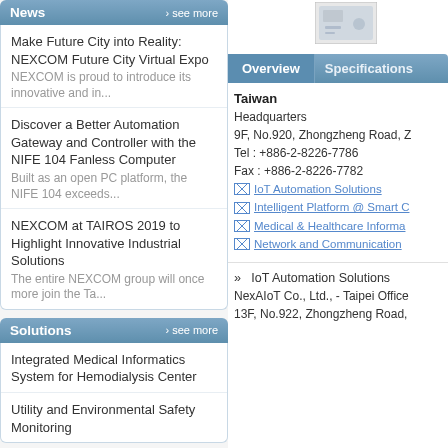News  › see more
Make Future City into Reality: NEXCOM Future City Virtual Expo
NEXCOM is proud to introduce its innovative and in...
Discover a Better Automation Gateway and Controller with the NIFE 104 Fanless Computer
Built as an open PC platform, the NIFE 104 exceeds...
NEXCOM at TAIROS 2019 to Highlight Innovative Industrial Solutions
The entire NEXCOM group will once more join the Ta...
Solutions  › see more
Integrated Medical Informatics System for Hemodialysis Center
Utility and Environmental Safety Monitoring
Video  › see more
[Figure (photo): Product thumbnail image]
Overview  |  Specifications
Taiwan
Headquarters
9F, No.920, Zhongzheng Road, Z
Tel : +886-2-8226-7786
Fax : +886-2-8226-7782
IoT Automation Solutions
Intelligent Platform @ Smart C
Medical & Healthcare Informa
Network and Communication
» IoT Automation Solutions
NexAIoT Co., Ltd., - Taipei Office
13F, No.922, Zhongzheng Road,